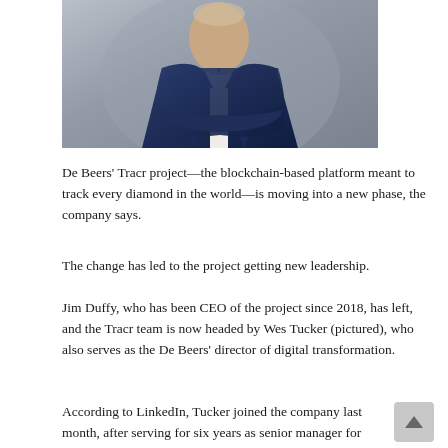[Figure (photo): Professional headshot of Wes Tucker, a man in a dark navy blazer with white shirt, arms crossed, light grey background.]
De Beers' Tracr project—the blockchain-based platform meant to track every diamond in the world—is moving into a new phase, the company says.
The change has led to the project getting new leadership.
Jim Duffy, who has been CEO of the project since 2018, has left, and the Tracr team is now headed by Wes Tucker (pictured), who also serves as the De Beers' director of digital transformation.
According to LinkedIn, Tucker joined the company last month, after serving for six years as senior manager for